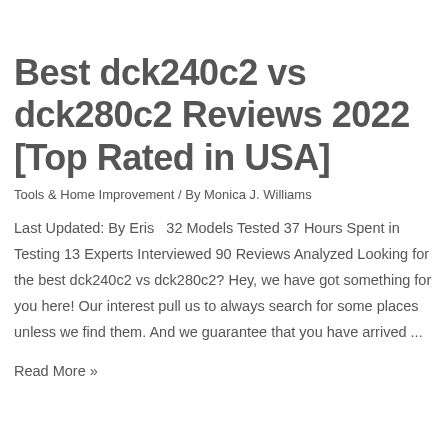Best dck240c2 vs dck280c2 Reviews 2022 [Top Rated in USA]
Tools & Home Improvement / By Monica J. Williams
Last Updated: By Eris   32 Models Tested 37 Hours Spent in Testing 13 Experts Interviewed 90 Reviews Analyzed Looking for the best dck240c2 vs dck280c2? Hey, we have got something for you here! Our interest pull us to always search for some places unless we find them. And we guarantee that you have arrived ...
Read More »